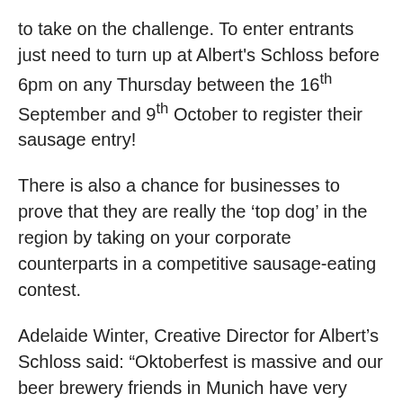to take on the challenge. To enter entrants just need to turn up at Albert's Schloss before 6pm on any Thursday between the 16th September and 9th October to register their sausage entry!
There is also a chance for businesses to prove that they are really the ‘top dog’ in the region by taking on your corporate counterparts in a competitive sausage-eating contest.
Adelaide Winter, Creative Director for Albert’s Schloss said: “Oktoberfest is massive and our beer brewery friends in Munich have very kindly allowed us to create our own Oktoberfest here in Manchester with their special and incredibly rare beers.
“Since we opened Albert’s Schloss a year ago we poured hundreds of thousands of pints and firmly established